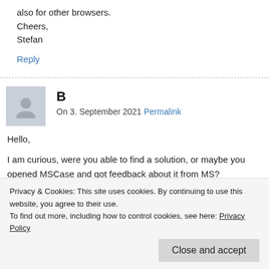also for other browsers.
Cheers,
Stefan
Reply
B
On 3. September 2021 Permalink
Hello,
I am curious, were you able to find a solution, or maybe you opened MSCase and got feedback about it from MS?
Thanks,
Privacy & Cookies: This site uses cookies. By continuing to use this website, you agree to their use.
To find out more, including how to control cookies, see here: Privacy Policy
Close and accept
On 24. November 2021 Permalink